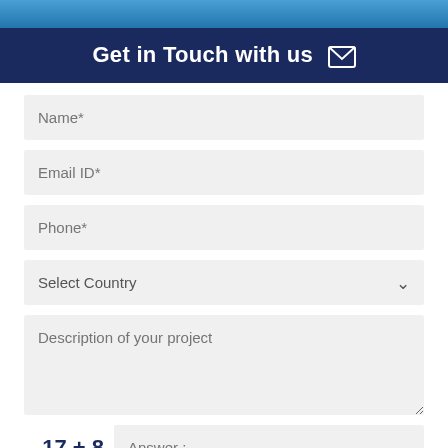Get in Touch with us ✉
Name*
Email ID*
Phone*
Select Country
Description of your project
17 + 8   Answer :
SUBMIT